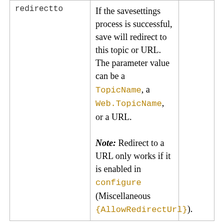| Parameter | Description |  |
| --- | --- | --- |
| redirectto | If the savesettings process is successful, save will redirect to this topic or URL. The parameter value can be a TopicName, a Web.TopicName, or a URL.
Note: Redirect to a URL only works if it is enabled in configure (Miscellaneous {AllowRedirectUrl}). |  |
All other parameters may be interpreted as form fields, depending on the current form definition in the topic.
action=bulkRegister